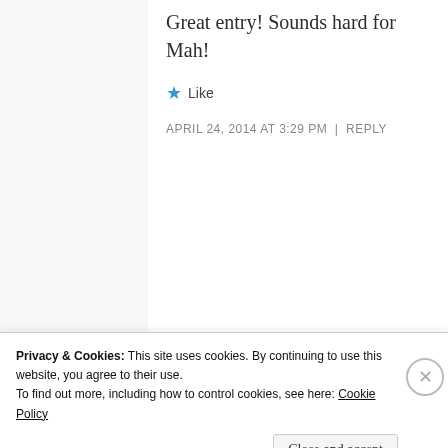Great entry! Sounds hard for Mah!
★ Like
APRIL 24, 2014 AT 3:29 PM | REPLY
Lauren
No, super easy!
Privacy & Cookies: This site uses cookies. By continuing to use this website, you agree to their use. To find out more, including how to control cookies, see here: Cookie Policy
Close and accept